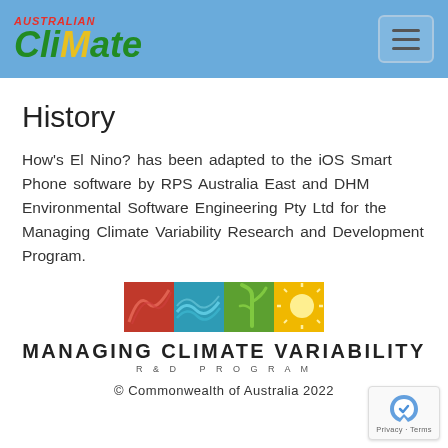Australian CliMate
History
How's El Nino? has been adapted to the iOS Smart Phone software by RPS Australia East and DHM Environmental Software Engineering Pty Ltd for the Managing Climate Variability Research and Development Program.
[Figure (logo): Managing Climate Variability R&D Program logo with four colored squares (red, teal, green, orange) and text MANAGING CLIMATE VARIABILITY R&D PROGRAM]
© Commonwealth of Australia 2022